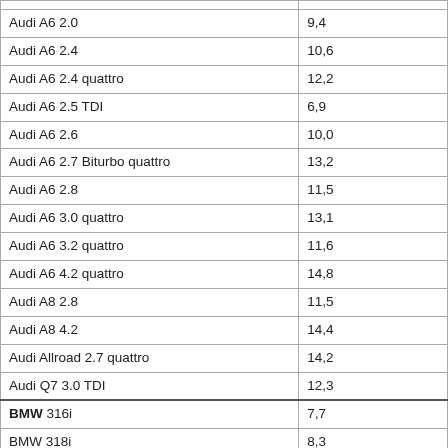| Audi A6 2.0 | 9,4 |
| Audi A6 2.4 | 10,6 |
| Audi A6 2.4 quattro | 12,2 |
| Audi A6 2.5 TDI | 6,9 |
| Audi A6 2.6 | 10,0 |
| Audi A6 2.7 Biturbo quattro | 13,2 |
| Audi A6 2.8 | 11,5 |
| Audi A6 3.0 quattro | 13,1 |
| Audi A6 3.2 quattro | 11,6 |
| Audi A6 4.2 quattro | 14,8 |
| Audi A8 2.8 | 11,5 |
| Audi A8 4.2 | 14,4 |
| Audi Allroad 2.7 quattro | 14,2 |
| Audi Q7 3.0 TDI | 12,3 |
| BMW 316i | 7,7 |
| BMW 318i | 8,3 |
| BMW 320iA | 10,3 |
| BMW 325Cl | 10,4 |